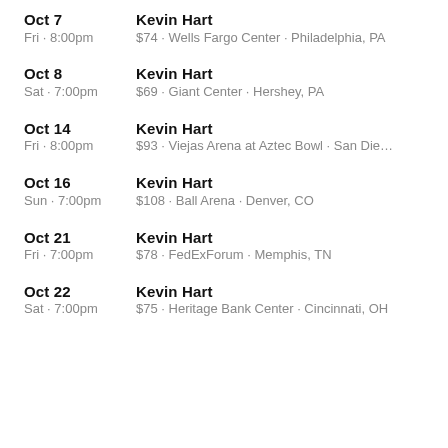Oct 7 | Kevin Hart | Fri · 8:00pm | $74 · Wells Fargo Center · Philadelphia, PA
Oct 8 | Kevin Hart | Sat · 7:00pm | $69 · Giant Center · Hershey, PA
Oct 14 | Kevin Hart | Fri · 8:00pm | $93 · Viejas Arena at Aztec Bowl · San Die…
Oct 16 | Kevin Hart | Sun · 7:00pm | $108 · Ball Arena · Denver, CO
Oct 21 | Kevin Hart | Fri · 7:00pm | $78 · FedExForum · Memphis, TN
Oct 22 | Kevin Hart | Sat · 7:00pm | $75 · Heritage Bank Center · Cincinnati, OH